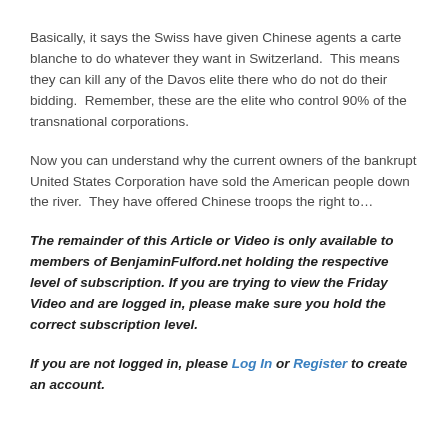Basically, it says the Swiss have given Chinese agents a carte blanche to do whatever they want in Switzerland.  This means they can kill any of the Davos elite there who do not do their bidding.  Remember, these are the elite who control 90% of the transnational corporations.
Now you can understand why the current owners of the bankrupt United States Corporation have sold the American people down the river.  They have offered Chinese troops the right to…
The remainder of this Article or Video is only available to members of BenjaminFulford.net holding the respective level of subscription. If you are trying to view the Friday Video and are logged in, please make sure you hold the correct subscription level.
If you are not logged in, please Log In or Register to create an account.